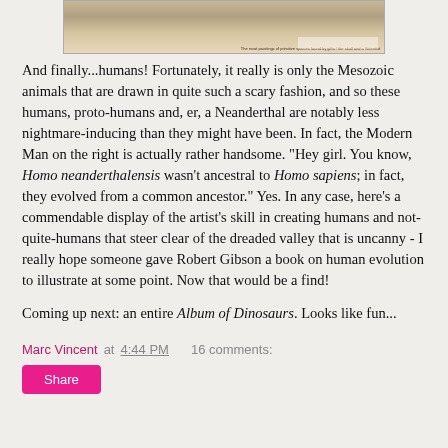[Figure (illustration): Top portion of an illustrated image showing prehistoric animals or dinosaurs, with a small caption text in the bottom right corner.]
And finally...humans! Fortunately, it really is only the Mesozoic animals that are drawn in quite such a scary fashion, and so these humans, proto-humans and, er, a Neanderthal are notably less nightmare-inducing than they might have been. In fact, the Modern Man on the right is actually rather handsome. "Hey girl. You know, Homo neanderthalensis wasn't ancestral to Homo sapiens; in fact, they evolved from a common ancestor." Yes. In any case, here's a commendable display of the artist's skill in creating humans and not-quite-humans that steer clear of the dreaded valley that is uncanny - I really hope someone gave Robert Gibson a book on human evolution to illustrate at some point. Now that would be a find!
Coming up next: an entire Album of Dinosaurs. Looks like fun...
Marc Vincent at 4:44 PM   16 comments:
Share